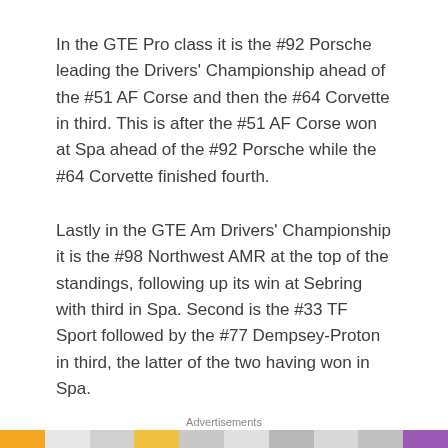In the GTE Pro class it is the #92 Porsche leading the Drivers' Championship ahead of the #51 AF Corse and then the #64 Corvette in third. This is after the #51 AF Corse won at Spa ahead of the #92 Porsche while the #64 Corvette finished fourth.
Lastly in the GTE Am Drivers' Championship it is the #98 Northwest AMR at the top of the standings, following up its win at Sebring with third in Spa. Second is the #33 TF Sport followed by the #77 Dempsey-Proton in third, the latter of the two having won in Spa.
Formula 1
Advertisements